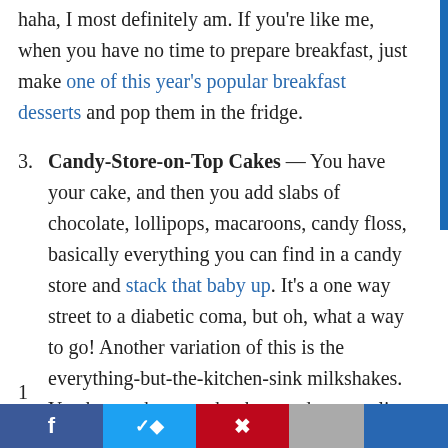haha, I most definitely am. If you're like me, when you have no time to prepare breakfast, just make one of this year's popular breakfast desserts and pop them in the fridge.
3. Candy-Store-on-Top Cakes — You have your cake, and then you add slabs of chocolate, lollipops, macaroons, candy floss, basically everything you can find in a candy store and stack that baby up. It's a one way street to a diabetic coma, but oh, what a way to go! Another variation of this is the everything-but-the-kitchen-sink milkshakes. You know, the ones that have a donut, a slice of pie, whipped cream, chocolate AND caramel sauce, and perhaps a few chocolate bars, all balancing